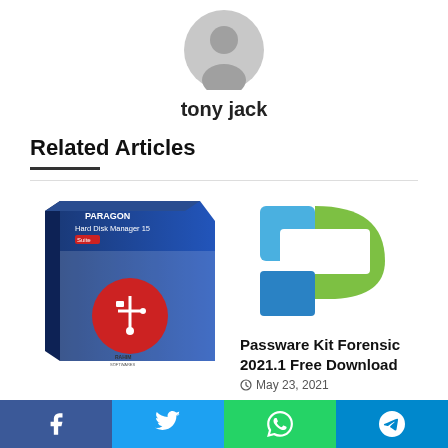[Figure (illustration): Gray default avatar/profile icon circle with person silhouette]
tony jack
Related Articles
[Figure (photo): Paragon Hard Disk Manager 15 Suite software box with USB symbol and red circle on blue gradient background, watermarked Rahim Softwares]
[Figure (logo): Passware Kit logo — blue and green stylized P shape on white background]
Passware Kit Forensic 2021.1 Free Download
May 23, 2021